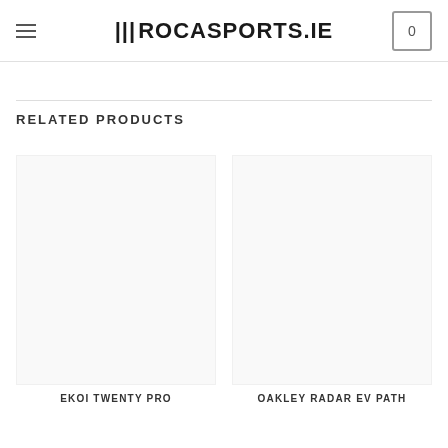ROCASPORTS.IE
- Polycarbonate lens
- CE approved.
RELATED PRODUCTS
EKOI TWENTY PRO
OAKLEY RADAR EV PATH